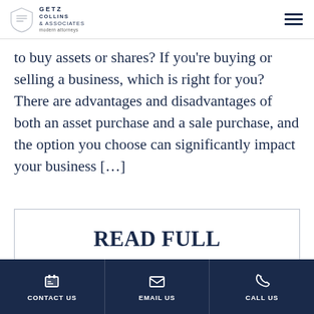Getz Collins & Associates — navigation header with logo and hamburger menu
to buy assets or shares? If you're buying or selling a business, which is right for you? There are advantages and disadvantages of both an asset purchase and a sale purchase, and the option you choose can significantly impact your business […]
READ FULL ARTICLE
CONTACT US | EMAIL US | CALL US